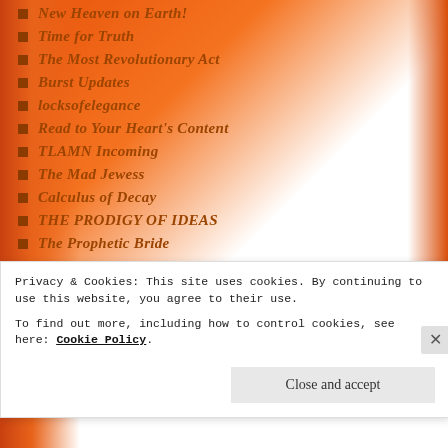New Heaven on Earth!
Time for Truth
The Most Revolutionary Act
Burst Updates
locksofelegance
Read to Your Heart's Content
TLAMN Incoming
The Mad Jewess
Calculus of Decay
THE PRODIGY OF IDEAS
The Prophetic Bride
The Lone Cactus
FaithByTheWord Ministries
Cry and Howl
...the Fashion Doll Studio (partial)
Privacy & Cookies: This site uses cookies. By continuing to use this website, you agree to their use.
To find out more, including how to control cookies, see here: Cookie Policy
Close and accept